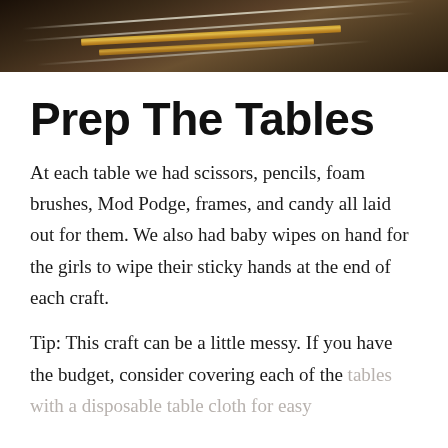[Figure (photo): Photo strip showing scissors, pencils, and craft supplies on a dark wooden table surface]
Prep The Tables
At each table we had scissors, pencils, foam brushes, Mod Podge, frames, and candy all laid out for them.  We also had baby wipes on hand for the girls to wipe their sticky hands at the end of each craft.
Tip:  This craft can be a little messy.  If you have the budget, consider covering each of the tables with a disposable table cloth for easy